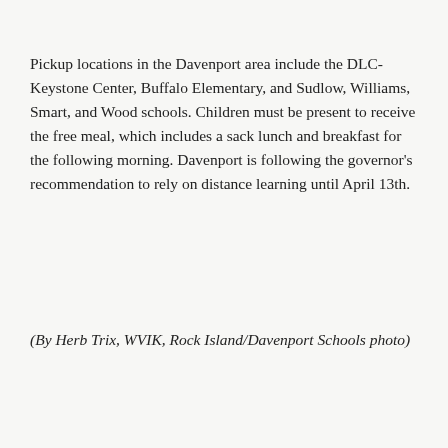Pickup locations in the Davenport area include the DLC-Keystone Center, Buffalo Elementary, and Sudlow, Williams, Smart, and Wood schools. Children must be present to receive the free meal, which includes a sack lunch and breakfast for the following morning. Davenport is following the governor's recommendation to rely on distance learning until April 13th.
(By Herb Trix, WVIK, Rock Island/Davenport Schools photo)
Share this:
Facebook  Twitter
FILED UNDER: EDUCATION, NEWS